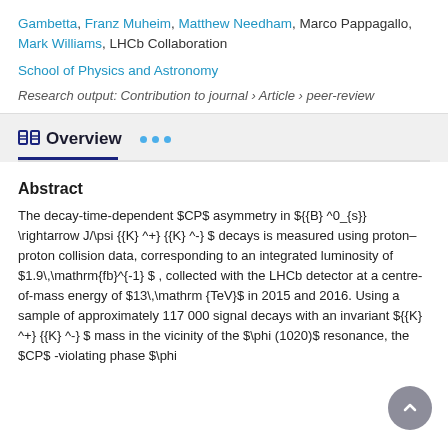Gambetta, Franz Muheim, Matthew Needham, Marco Pappagallo, Mark Williams, LHCb Collaboration
School of Physics and Astronomy
Research output: Contribution to journal › Article › peer-review
Overview
Abstract
The decay-time-dependent $CP$ asymmetry in ${{B} ^0_{s}} \rightarrow J/\psi {{K} ^+} {{K} ^-} $ decays is measured using proton–proton collision data, corresponding to an integrated luminosity of $1.9\,\mathrm{fb}^{-1} $ , collected with the LHCb detector at a centre-of-mass energy of $13\,\mathrm {TeV}$ in 2015 and 2016. Using a sample of approximately 117 000 signal decays with an invariant ${{K} ^+} {{K} ^-} $ mass in the vicinity of the $\phi (1020)$ resonance, the $CP$ -violating phase $\phi